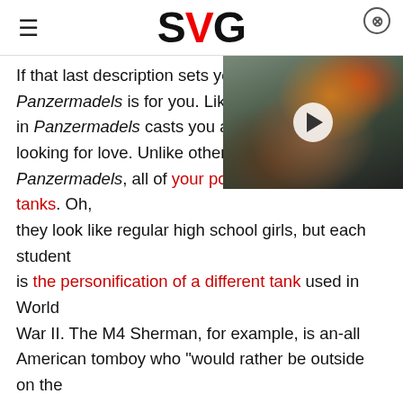SVG
[Figure (screenshot): Video thumbnail showing a monster/creature character with glowing orange eyes from what appears to be a video game, with a play button overlay]
If that last description sets yo... Panzermadels is for you. Like in Panzermadels casts you as a high school student looking for love. Unlike other dating simulators, in Panzermadels, all of your potential mates are tanks. Oh, they look like regular high school girls, but each student is the personification of a different tank used in World War II. The M4 Sherman, for example, is an-all American tomboy who "would rather be outside on the firing line listening to classic rock" than sitting in class. The German Panzer IV is "is your average teenage tank" who "likes sweets, pop music, and Anschlussing